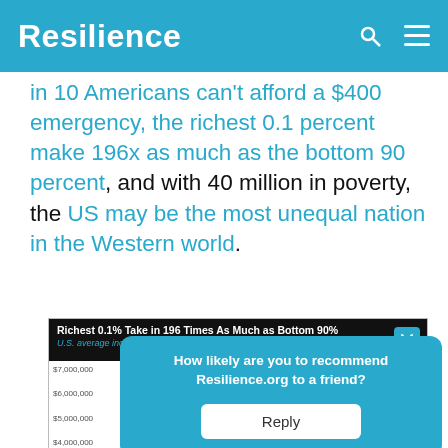Resilience
in 10 Americans can't afford a $400 emergency, the richest 0.1 percent make 196x as much as the bottom 90 percent, and with 40 million in poverty, the US may be the most unequal nation in the Western world.
[Figure (bar-chart): U.S. average income, 2018. Bar chart showing income inequality with y-axis from $4,000,000 to $7,000,000 range.]
How likely are you to recommend Resilience.org to a friend?